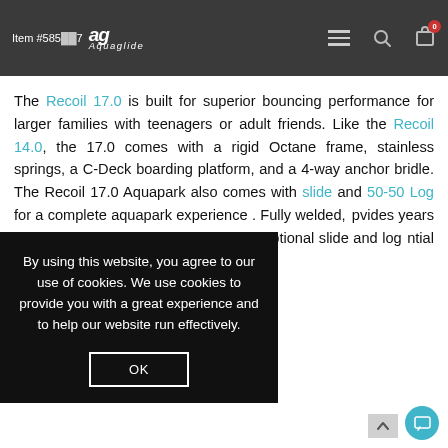Item #585...7 | Aquaglide logo | Navigation icons
The Recoil 17.0 is built for superior bouncing performance for larger families with teenagers or adult friends. Like the Recoil 14.0, the 17.0 comes with a rigid Octane frame, stainless springs, a C-Deck boarding platform, and a 4-way anchor bridle. The Recoil 17.0 Aquapark also comes with slide and 50-50 Log for a complete aquapark experience . Fully welded, [partially obscured] pvides years of worry-free residential [partially obscured] for attaching optional slide and log [partially obscured]ntial park accessories on two sides. [partially obscured]nce with this perfect combination of
By using this website, you agree to our use of cookies. We use cookies to provide you with a great experience and to help our website run effectively.
OK